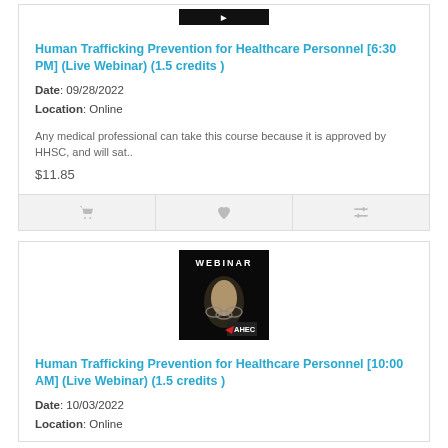[Figure (photo): Thumbnail image for Human Trafficking Prevention webinar (top card)]
Human Trafficking Prevention for Healthcare Personnel [6:30 PM] (Live Webinar) (1.5 credits )
Date: 09/28/2022
Location: Online
Any medical professional can take this course because it is approved by HHSC, and will sat..
$11.85
[Figure (photo): Thumbnail image for Human Trafficking Prevention webinar — shows 'WEBINAR' text and 'AHEC' logo with chained hand on dark background]
Human Trafficking Prevention for Healthcare Personnel [10:00 AM] (Live Webinar) (1.5 credits )
Date: 10/03/2022
Location: Online